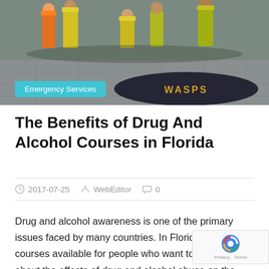[Figure (photo): Emergency services personnel kneeling on a tarmac with a WASPS logo mat, wearing high-visibility jackets and safety helmets]
Emergency Services
The Benefits of Drug And Alcohol Courses in Florida
2017-07-25  WebEditor  0
Drug and alcohol awareness is one of the primary issues faced by many countries. In Florida, there are courses available for people who want to learn more about the effects of drug and alcohol abuse on the body as well as on the social front. It has also been made mandatory for a person to complete a 4- Traffic Law and Substance Awareness Course which